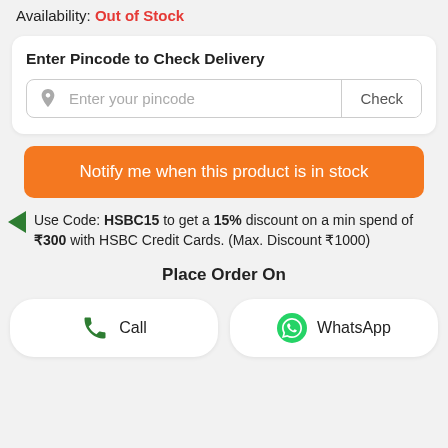Availability: Out of Stock
Enter Pincode to Check Delivery
Enter your pincode   Check
Notify me when this product is in stock
Use Code: HSBC15 to get a 15% discount on a min spend of ₹300 with HSBC Credit Cards. (Max. Discount ₹1000)
Place Order On
Call
WhatsApp